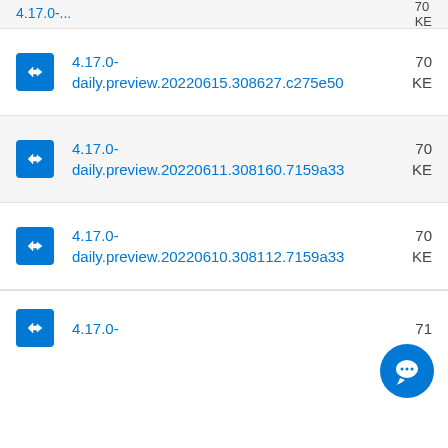4.17.0-daily.preview.20220615.308627.c275e50
4.17.0-daily.preview.20220611.308160.7159a33
4.17.0-daily.preview.20220610.308112.7159a33
4.17.0-